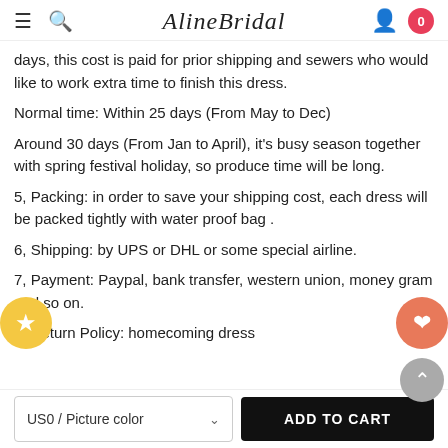AlineBridal
days, this cost is paid for prior shipping and sewers who would like to work extra time to finish this dress.
Normal time: Within 25 days (From May to Dec)
Around 30 days (From Jan to April), it's busy season together with spring festival holiday, so produce time will be long.
5, Packing: in order to save your shipping cost, each dress will be packed tightly with water proof bag .
6, Shipping: by UPS or DHL or some special airline.
7, Payment: Paypal, bank transfer, western union, money gram and so on.
8, Return Policy: homecoming dress